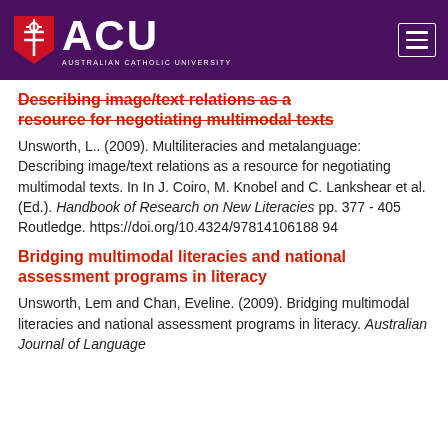[Figure (logo): ACU - Australian Catholic University logo with purple header bar and hamburger menu icon]
Describing image/text relations as a resource for negotiating multimodal texts
Unsworth, L.. (2009). Multiliteracies and metalanguage: Describing image/text relations as a resource for negotiating multimodal texts. In In J. Coiro, M. Knobel and C. Lankshear et al. (Ed.). Handbook of Research on New Literacies pp. 377 - 405 Routledge. https://doi.org/10.4324/97814106188 94
Bridging multimodal literacies and national assessment programs in literacy
Unsworth, Lem and Chan, Eveline. (2009). Bridging multimodal literacies and national assessment programs in literacy. Australian Journal of Language